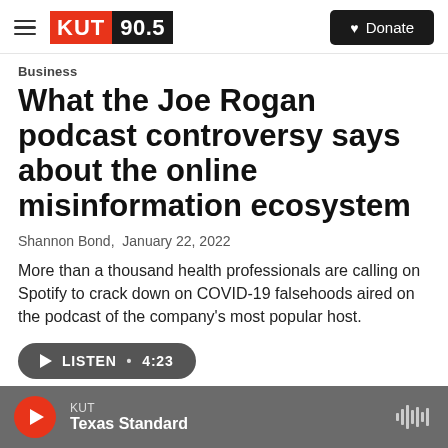KUT 90.5 | Donate
Business
What the Joe Rogan podcast controversy says about the online misinformation ecosystem
Shannon Bond, January 22, 2022
More than a thousand health professionals are calling on Spotify to crack down on COVID-19 falsehoods aired on the podcast of the company's most popular host.
LISTEN • 4:23
[Figure (photo): Partial image of a person, cropped at bottom of article]
KUT | Texas Standard